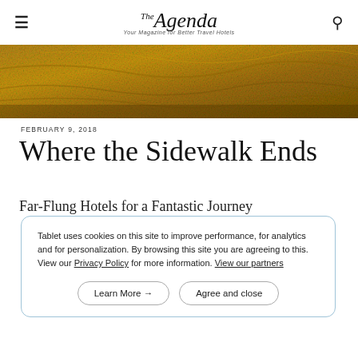The Agenda
[Figure (photo): Sandy/rocky textured surface in golden-brown tones, close-up photograph used as hero image]
FEBRUARY 9, 2018
Where the Sidewalk Ends
Far-Flung Hotels for a Fantastic Journey
Tablet uses cookies on this site to improve performance, for analytics and for personalization. By browsing this site you are agreeing to this. View our Privacy Policy for more information. View our partners
Learn More →   Agree and close